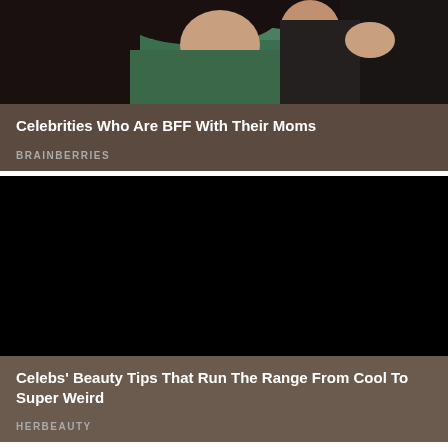[Figure (photo): Partial view of celebrities - cropped photo showing people at an event]
Celebrities Who Are BFF With Their Moms
BRAINBERRIES
[Figure (photo): Dark/black image - second article thumbnail]
Celebs' Beauty Tips That Run The Range From Cool To Super Weird
HERBEAUTY
[Figure (photo): Partially visible third article thumbnail at bottom of page]